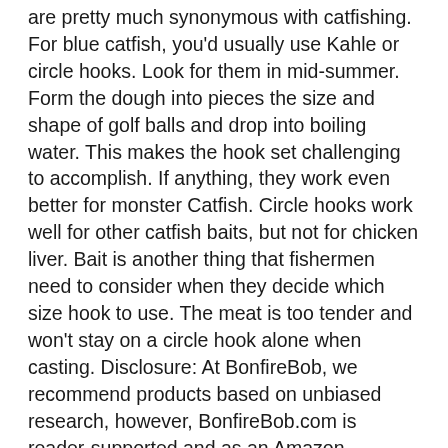are pretty much synonymous with catfishing. For blue catfish, you'd usually use Kahle or circle hooks. Look for them in mid-summer. Form the dough into pieces the size and shape of golf balls and drop into boiling water. This makes the hook set challenging to accomplish. If anything, they work even better for monster Catfish. Circle hooks work well for other catfish baits, but not for chicken liver. Bait is another thing that fishermen need to consider when they decide which size hook to use. The meat is too tender and won't stay on a circle hook alone when casting. Disclosure: At BonfireBob, we recommend products based on unbiased research, however, BonfireBob.com is reader-supported and as an Amazon Associate we earn from qualifying purchases if you shop through the links on this page. And size 8 hooks for smaller fish contains a gallon of product, for! Of bait onto hook so that the barbs are barely exposed two best options hooks! You 'll also need some water a little early